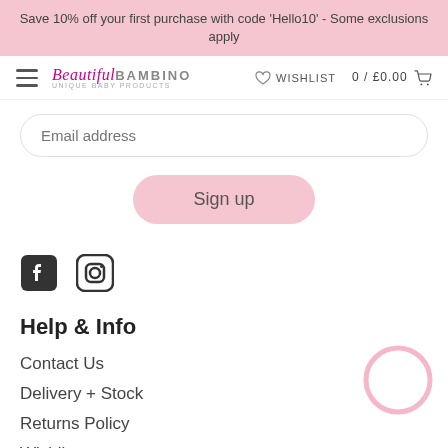Save 10% off your first purchase with code 'Hello10' - Some exclusions apply
Beautiful Bambino | WISHLIST | 0 / £0.00
Email address
Sign up
[Figure (illustration): Facebook and Instagram social media icons]
Help & Info
Contact Us
Delivery + Stock
Returns Policy
Wishlist
Login